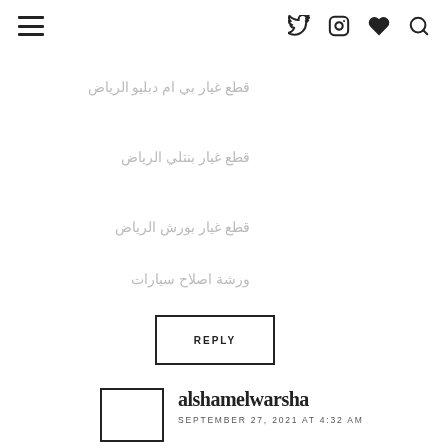Navigation header with hamburger menu and social icons (Twitter, Instagram, Heart, Search)
قطع غيار بي ام دبليو الرياض
قطع غيار بنتلي الرياض
قطع غيار بورش الرياض
ورشة اصلاح سيارات
REPLY
alshamelwarsha
SEPTEMBER 27, 2021 AT 4:32 AM
إلى ذلك ، يمكنك اختيار اتباع جدول الصيانة الخاص بك ، يعناك عدد من الأشياء التي تحتاج إلى صيانتها بانتظام أو استيدالها على فترات زمنية معينة - افحص ضغط الاطارات بانتظام وقم بتغيير ماسحات الزجاج